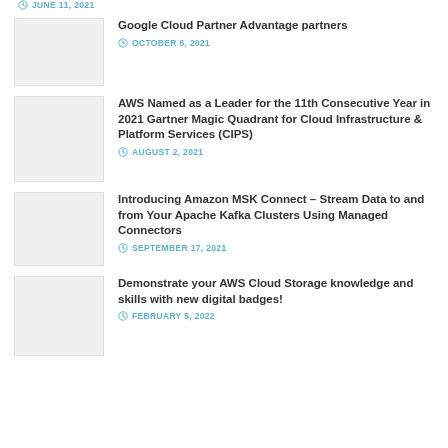JUNE 11, 2021
Google Cloud Partner Advantage partners
OCTOBER 6, 2021
AWS Named as a Leader for the 11th Consecutive Year in 2021 Gartner Magic Quadrant for Cloud Infrastructure & Platform Services (CIPS)
AUGUST 2, 2021
Introducing Amazon MSK Connect – Stream Data to and from Your Apache Kafka Clusters Using Managed Connectors
SEPTEMBER 17, 2021
Demonstrate your AWS Cloud Storage knowledge and skills with new digital badges!
FEBRUARY 5, 2022